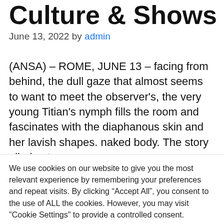Culture & Shows
June 13, 2022 by admin
(ANSA) – ROME, JUNE 13 – facing from behind, the dull gaze that almost seems to want to meet the observer's, the very young Titian's nymph fills the room and fascinates with the diaphanous skin and her lavish shapes. naked body. The story alludes to a
We use cookies on our website to give you the most relevant experience by remembering your preferences and repeat visits. By clicking "Accept All", you consent to the use of ALL the cookies. However, you may visit "Cookie Settings" to provide a controlled consent.